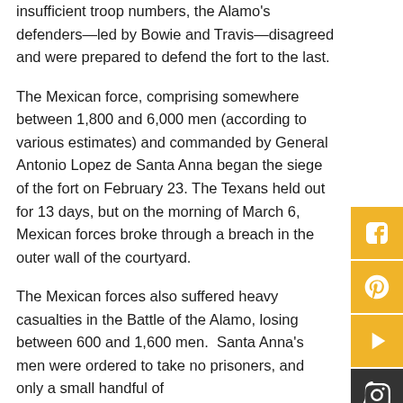insufficient troop numbers, the Alamo's defenders—led by Bowie and Travis—disagreed and were prepared to defend the fort to the last.
The Mexican force, comprising somewhere between 1,800 and 6,000 men (according to various estimates) and commanded by General Antonio Lopez de Santa Anna began the siege of the fort on February 23. The Texans held out for 13 days, but on the morning of March 6, Mexican forces broke through a breach in the outer wall of the courtyard.
The Mexican forces also suffered heavy casualties in the Battle of the Alamo, losing between 600 and 1,600 men. Santa Anna's men were ordered to take no prisoners, and only a small handful of
[Figure (other): Social media sharing buttons: Facebook, Pinterest, YouTube/Play, Instagram — gold/yellow colored squares on the right side of the page]